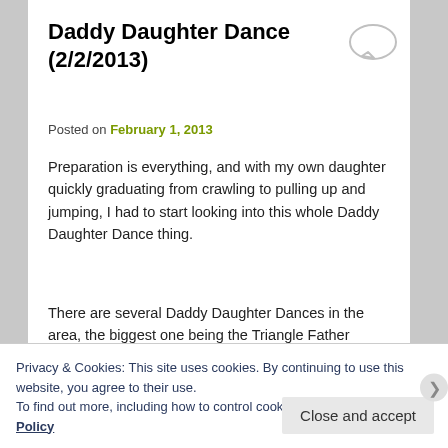Daddy Daughter Dance (2/2/2013)
Posted on February 1, 2013
Preparation is everything, and with my own daughter quickly graduating from crawling to pulling up and jumping, I had to start looking into this whole Daddy Daughter Dance thing.
There are several Daddy Daughter Dances in the area, the biggest one being the Triangle Father Daughter Dance this Saturday from 6-9p. It is held at Marbles, but not
Privacy & Cookies: This site uses cookies. By continuing to use this website, you agree to their use.
To find out more, including how to control cookies, see here: Cookie Policy